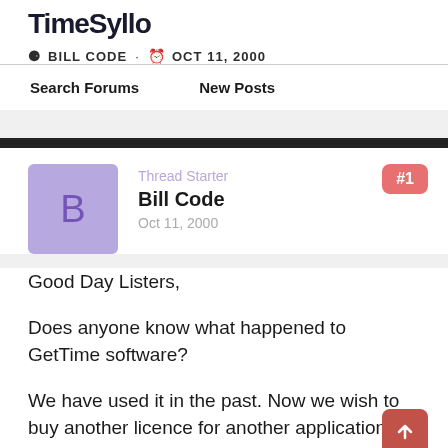TimeSyllo
BILL CODE · Oct 11, 2000
Search Forums    New Posts
Thread Starter
Bill Code
Oct 11, 2000
#1
Good Day Listers,
Does anyone know what happened to GetTime software?
We have used it in the past. Now we wish to buy another licence for another application and can neither